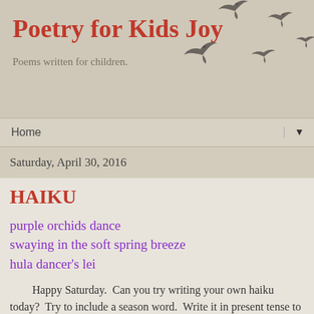Poetry for Kids Joy
Poems written for children.
[Figure (illustration): Silhouettes of flying birds in gray, scattered across upper right of header]
Home ▼
Saturday, April 30, 2016
HAIKU
purple orchids dance
swaying in the soft spring breeze
hula dancer's lei
Happy Saturday.  Can you try writing your own haiku today?  Try to include a season word.  Write it in present tense to make your haiku more immediate.  Have fun writing.